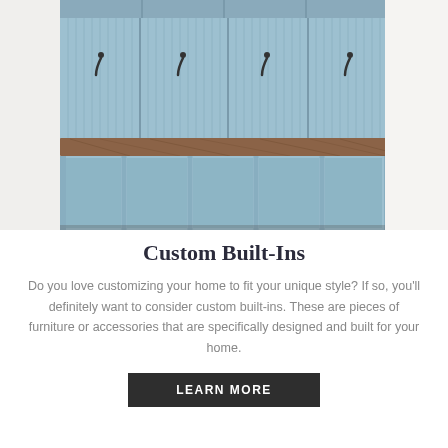[Figure (photo): A light blue custom built-in mudroom unit with beadboard panel backs, coat hooks on top section, a wood bench top, and open cubbies at the bottom for shoe storage.]
Custom Built-Ins
Do you love customizing your home to fit your unique style? If so, you'll definitely want to consider custom built-ins. These are pieces of furniture or accessories that are specifically designed and built for your home.
LEARN MORE